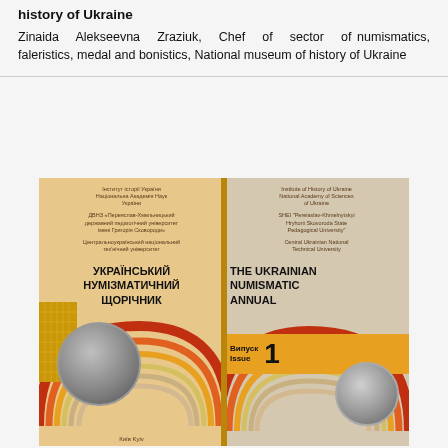history of Ukraine
Zinaida Alekseevna Zraziuk, Chef of sector of numismatics, faleristics, medal and bonistics, National museum of history of Ukraine
[Figure (photo): Cover of 'The Ukrainian Numismatic Annual' Issue 1, showing Ukrainian and English text, institutional affiliations, decorative rainbow arc design with coins, and an orange issue band.]